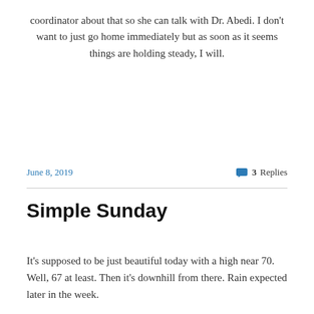coordinator about that so she can talk with Dr. Abedi. I don't want to just go home immediately but as soon as it seems things are holding steady, I will.
June 8, 2019   3 Replies
Simple Sunday
It's supposed to be just beautiful today with a high near 70. Well, 67 at least. Then it's downhill from there. Rain expected later in the week.